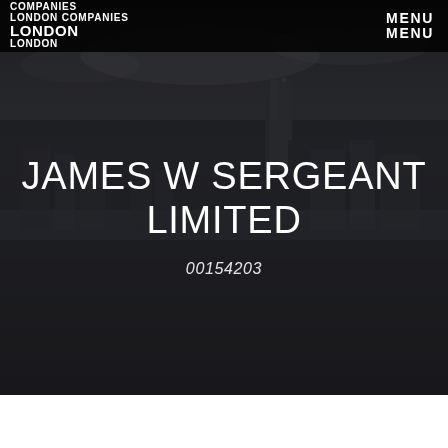COMPANIES LONDON COMPANIES LONDON LONDON
MENU MENU
[Figure (photo): Aerial photograph of London city skyline with dark overlay, showing buildings, the Thames river, and St Paul's Cathedral area]
JAMES W SERGEANT LIMITED
00154203